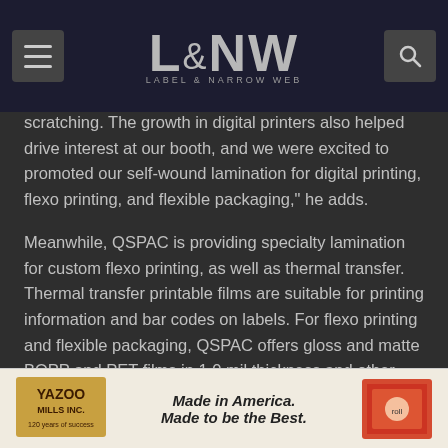L&NW LABEL & NARROW WEB
scratching. The growth in digital printers also helped drive interest at our booth, and we were excited to promoted our self-wound lamination for digital printing, flexo printing, and flexible packaging," he adds.
Meanwhile, QSPAC is providing specialty lamination for custom flexo printing, as well as thermal transfer. Thermal transfer printable films are suitable for printing information and bar codes on labels. For flexo printing and flexible packaging, QSPAC offers gloss and matte BOPP and PET films in 1.0 mil thickness and other specialty over laminates (release coated and thermal transfer printable).
QSPAC also provides its customers with enhanced resources and customer service. The company maintains
[Figure (photo): Yazoo Mills Inc. advertisement: 'Made in America. Made to be the Best.' with Yazoo Mills logo on left and product image on right. Tagline: 120 years of success.]